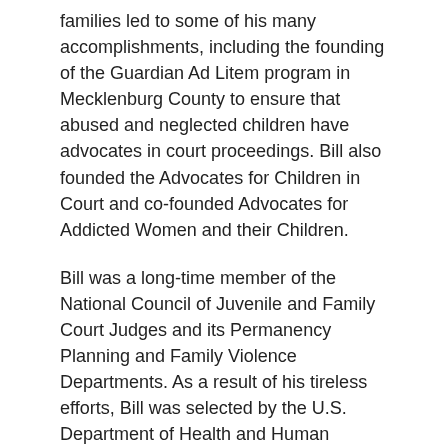families led to some of his many accomplishments, including the founding of the Guardian Ad Litem program in Mecklenburg County to ensure that abused and neglected children have advocates in court proceedings. Bill also founded the Advocates for Children in Court and co-founded Advocates for Addicted Women and their Children.
Bill was a long-time member of the National Council of Juvenile and Family Court Judges and its Permanency Planning and Family Violence Departments. As a result of his tireless efforts, Bill was selected by the U.S. Department of Health and Human Services to develop improved child support guidelines and was instrumental in founding the Children's Law Center, which is now a part of the Council for Children's Rights.
Through his vigilant dedication and selfless service to the community, Bill earned many awards, including the...